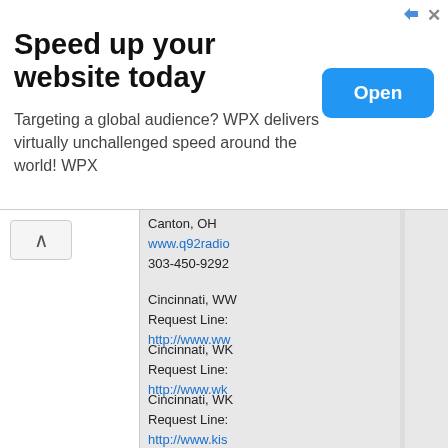[Figure (screenshot): Advertisement banner: 'Speed up your website today' with Open button, WPX hosting ad]
Canton, OH
www.q92radio
303-450-9292
Cincinnati, WW
Request Line:
http://www.ww
Cincinnati, WK
Request Line:
http://www.wk
Cincinnati, WK
Request Line:
http://www.kis
Cincinnati, WIZ
Phone Line: (5
http://www.wi